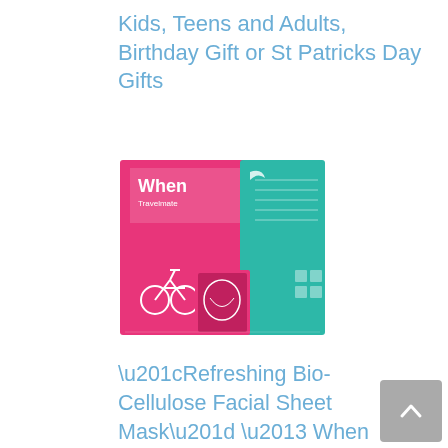Kids, Teens and Adults, Birthday Gift or St Patricks Day Gifts
[Figure (photo): Product box for 'When Beauty Travelmate' facial sheet mask — pink and teal/green box with bicycle and face mask imagery]
“Refreshing Bio-Cellulose Facial Sheet Mask” – When Beauty Travelmate Face Premium Korean Skincare Fine Line Wrinkles Reduce Intensive Hydration Soothing Elasticity Improvement Collagen (12 pcs set)